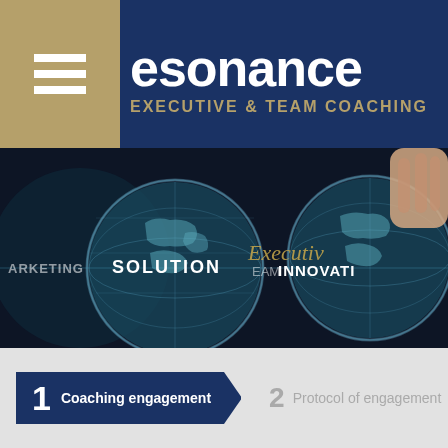[Figure (logo): Resonance Executive & Team Coaching logo with hamburger menu icon on tan/gold background and dark navy blue background with white text 'resonance' and gold 'EXECUTIVE & TEAM COACHING' tagline]
[Figure (photo): Dark background image showing two glowing globe spheres with business concept words overlaid: MARKETING, SOLUTION, TEAM, INNOVATION, Executive in gold italic. A hand is visible touching the right globe.]
1 Coaching engagement
2 Protocol of engagement